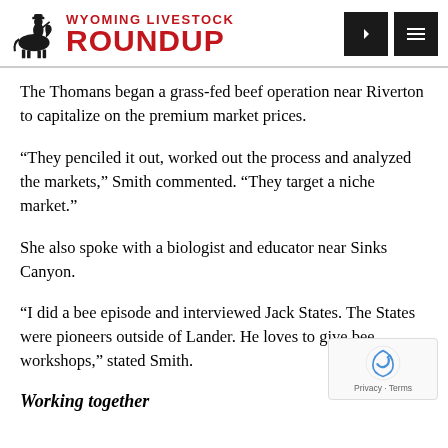Wyoming Livestock Roundup
The Thomans began a grass-fed beef operation near Riverton to capitalize on the premium market prices.
“They penciled it out, worked out the process and analyzed the markets,” Smith commented. “They target a niche market.”
She also spoke with a biologist and educator near Sinks Canyon.
“I did a bee episode and interviewed Jack States. The States were pioneers outside of Lander. He loves to give bee workshops,” stated Smith.
Working together